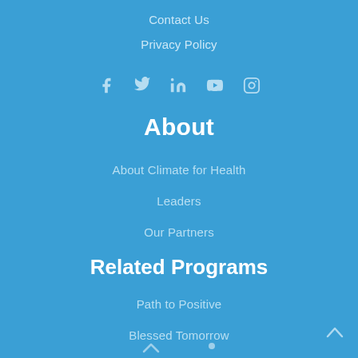Contact Us
Privacy Policy
[Figure (infographic): Social media icons: Facebook, Twitter, LinkedIn, YouTube, Instagram]
About
About Climate for Health
Leaders
Our Partners
Related Programs
Path to Positive
Blessed Tomorrow